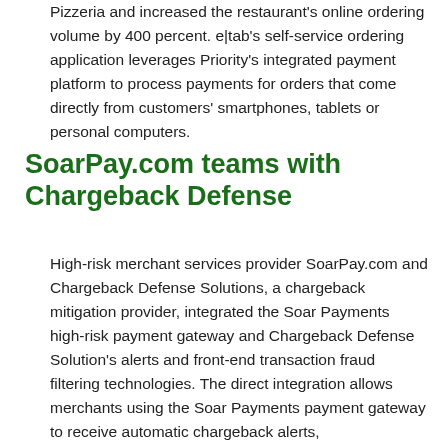Pizzeria and increased the restaurant's online ordering volume by 400 percent. e|tab's self-service ordering application leverages Priority's integrated payment platform to process payments for orders that come directly from customers' smartphones, tablets or personal computers.
SoarPay.com teams with Chargeback Defense
High-risk merchant services provider SoarPay.com and Chargeback Defense Solutions, a chargeback mitigation provider, integrated the Soar Payments high-risk payment gateway and Chargeback Defense Solution's alerts and front-end transaction fraud filtering technologies. The direct integration allows merchants using the Soar Payments payment gateway to receive automatic chargeback alerts,